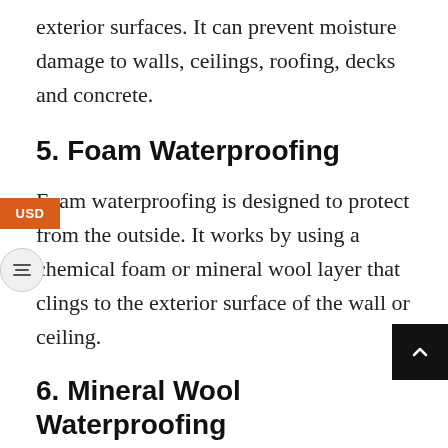exterior surfaces. It can prevent moisture damage to walls, ceilings, roofing, decks and concrete.
5. Foam Waterproofing
Foam waterproofing is designed to protect from the outside. It works by using a chemical foam or mineral wool layer that clings to the exterior surface of the wall or ceiling.
6. Mineral Wool Waterproofing
Mineral wool waterproofing is designed to protect from the outside. It is a substance that